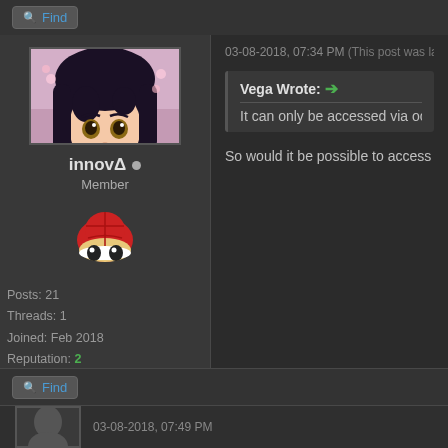Find
[Figure (photo): Anime girl profile picture with dark hair, smiling, in a school uniform with cherry blossoms in background]
innovΔ • Member
[Figure (illustration): Red turtle shell emoji / rank icon]
Posts: 21
Threads: 1
Joined: Feb 2018
Reputation: 2
03-08-2018, 07:34 PM (This post was last modified: 12...
Vega Wrote: → It can only be accessed via ocarina co...
So would it be possible to access the Ch...
Find
03-08-2018, 07:49 PM